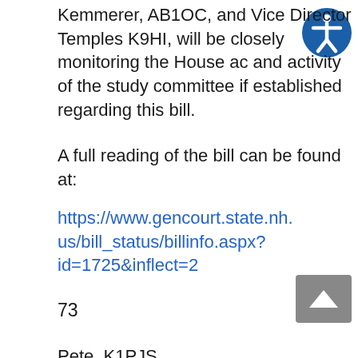Kemmerer, AB1OC, and Vice Director Temples K9HI, will be closely monitoring the House ac and activity of the study committee if established regarding this bill.
A full reading of the bill can be found at:
https://www.gencourt.state.nh.us/bill_status/billinfo.aspx?id=1725&inflect=2
73
Pete, K1PJS
NH SM
————————————————————————————————————————
ARRL New Hampshire Section
Section Manager: Peter | Stahmer, K1PJS